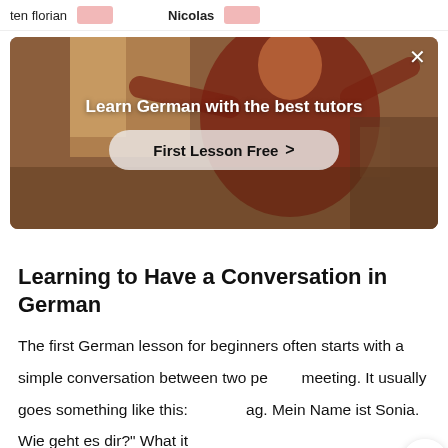ten florian   Nicolas
[Figure (photo): Banner showing a person in a room with text 'Learn German with the best tutors' and a 'First Lesson Free >' button, with a close (×) button in the top right.]
Learning to Have a Conversation in German
The first German lesson for beginners often starts with a simple conversation between two people meeting. It usually goes something like this: "Guten Tag. Mein Name ist Sonia. Wie geht es dir?" What it